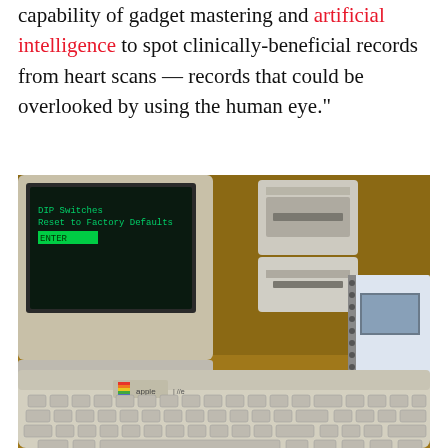capability of gadget mastering and artificial intelligence to spot clinically-beneficial records from heart scans — records that could be overlooked by using the human eye."
[Figure (photo): Photograph of a vintage Apple IIe computer with keyboard, green-phosphor monitor showing DIP Switches / Reset to Factory Defaults text, a floppy disk drive, and a spiral-bound notebook on a wooden desk.]